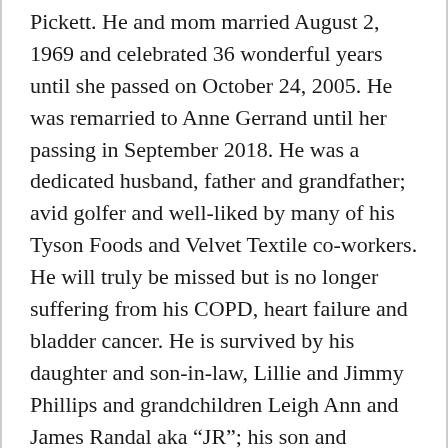Pickett. He and mom married August 2, 1969 and celebrated 36 wonderful years until she passed on October 24, 2005. He was remarried to Anne Gerrand until her passing in September 2018. He was a dedicated husband, father and grandfather; avid golfer and well-liked by many of his Tyson Foods and Velvet Textile co-workers. He will truly be missed but is no longer suffering from his COPD, heart failure and bladder cancer. He is survived by his daughter and son-in-law, Lillie and Jimmy Phillips and grandchildren Leigh Ann and James Randal aka “JR”; his son and daughter-in-law, Howard “Bud” and Tamara Van Meter and grandchildren, Cody, Jackson and Reese. He is also survived by his brother Mitchell Van Meter and his wife Cathy; numerous nieces, nephews and friends. Memorial services will be held at 7PM on Monday, March 29, 2021 at the Clarke Funeral Home in Kenbridge, VA. Please wear a mask and practice social